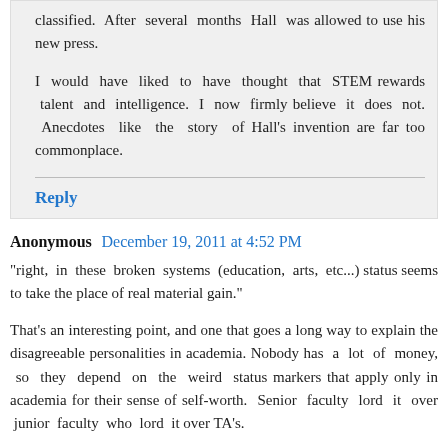classified. After several months Hall was allowed to use his new press.

I would have liked to have thought that STEM rewards talent and intelligence. I now firmly believe it does not. Anecdotes like the story of Hall's invention are far too commonplace.
Reply
Anonymous  December 19, 2011 at 4:52 PM
"right, in these broken systems (education, arts, etc...) status seems to take the place of real material gain."
That's an interesting point, and one that goes a long way to explain the disagreeable personalities in academia. Nobody has a lot of money, so they depend on the weird status markers that apply only in academia for their sense of self-worth. Senior faculty lord it over junior faculty who lord it over TA's.